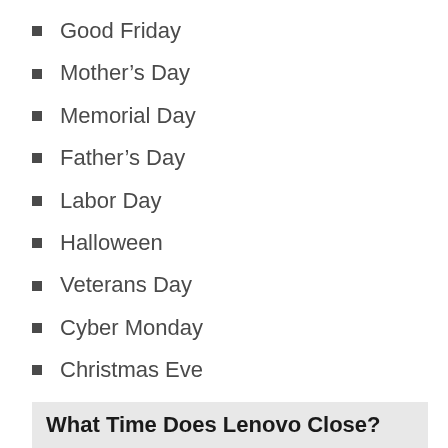Good Friday
Mother's Day
Memorial Day
Father's Day
Labor Day
Halloween
Veterans Day
Cyber Monday
Christmas Eve
New Year's Eve
What Time Does Lenovo Close?